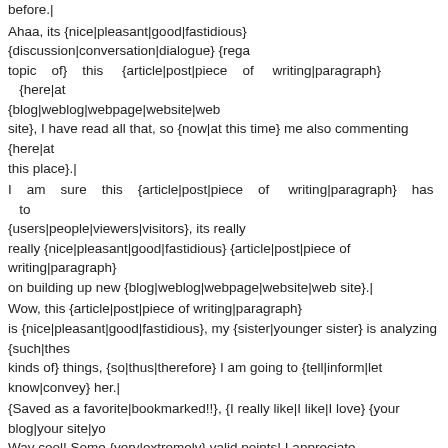before.|
Ahaa, its {nice|pleasant|good|fastidious} {discussion|conversation|dialogue} {rega topic of} this {article|post|piece of writing|paragraph} {here|at {blog|weblog|webpage|website|web site}, I have read all that, so {now|at this time} me also commenting {here|at this place}.|
I am sure this {article|post|piece of writing|paragraph} has to {users|people|viewers|visitors}, its really really {nice|pleasant|good|fastidious} {article|post|piece of writing|paragraph} on building up new {blog|weblog|webpage|website|web site}.|
Wow, this {article|post|piece of writing|paragraph} is {nice|pleasant|good|fastidious}, my {sister|younger sister} is analyzing {such|these kinds of} things, {so|thus|therefore} I am going to {tell|inform|let know|convey} her.|
{Saved as a favorite|bookmarked!!}, {I really like|I like|I love} {your blog|your site|yo Way cool! Some {very|extremely} valid points! I appreciate you {writing this|penning this} {article|post|write-up} {and the|and also the|plus the} {also very|extremely|very|also really|really} good.|
Hi, {I do believe|I do think} {this is an excellent|this is a great} {blog|website|web site|site}. I stumbledupon it 😉 {I will|I am going to|I'm going to|I may} {come back|return|revisit} {once again|yet again} {since I|since i have} {bookmarked|book marked|book-marked|saved as a favorite} it. Money and freedom {is the best|is the greatest} way to change, may you be rich {other people|others}.|
Woah! I'm really {loving|enjoying|digging}